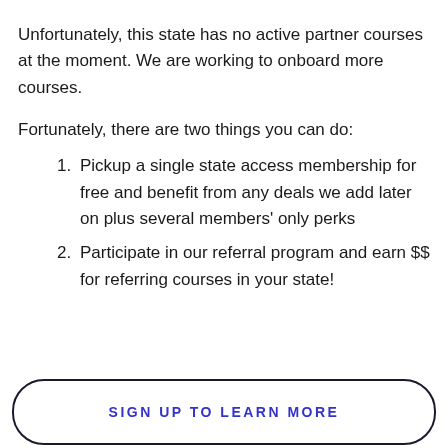Unfortunately, this state has no active partner courses at the moment. We are working to onboard more courses.
Fortunately, there are two things you can do:
Pickup a single state access membership for free and benefit from any deals we add later on plus several members' only perks
Participate in our referral program and earn $$ for referring courses in your state!
SIGN UP TO LEARN MORE